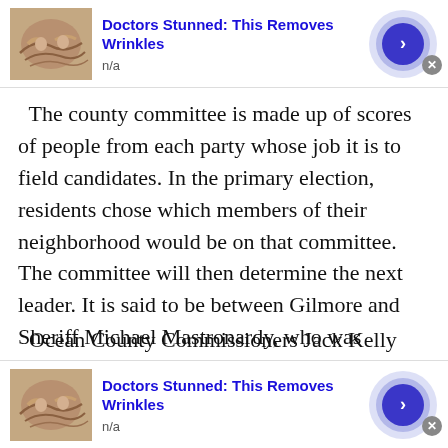[Figure (other): Advertisement banner: thumbnail image of wrinkled skin, title 'Doctors Stunned: This Removes Wrinkles', subtitle 'n/a', blue arrow button with concentric circles]
The county committee is made up of scores of people from each party whose job it is to field candidates. In the primary election, residents chose which members of their neighborhood would be on that committee. The committee will then determine the next leader. It is said to be between Gilmore and Sheriff Michael Mastronardy, who was unopposed in his primary win.
Ocean County Commissioners Jack Kelly and Virginia Haines won the primary, each getting about 28,000 votes. They are both long-established Republicans with deep roots
[Figure (other): Advertisement banner (bottom): thumbnail image of wrinkled skin, title 'Doctors Stunned: This Removes Wrinkles', subtitle 'n/a', blue arrow button with concentric circles, close X button]